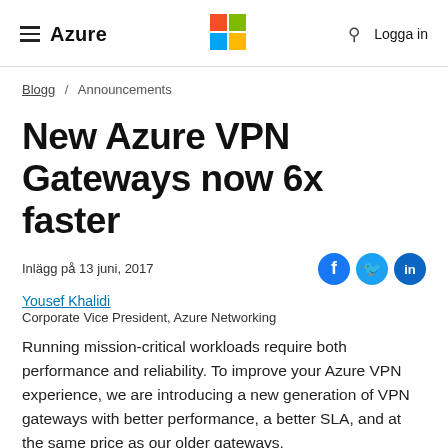≡ Azure | Microsoft Logo | 🔍 Logga in
Blogg / Announcements
New Azure VPN Gateways now 6x faster
Inlägg på 13 juni, 2017
Yousef Khalidi
Corporate Vice President, Azure Networking
Running mission-critical workloads require both performance and reliability. To improve your Azure VPN experience, we are introducing a new generation of VPN gateways with better performance, a better SLA, and at the same price as our older gateways.